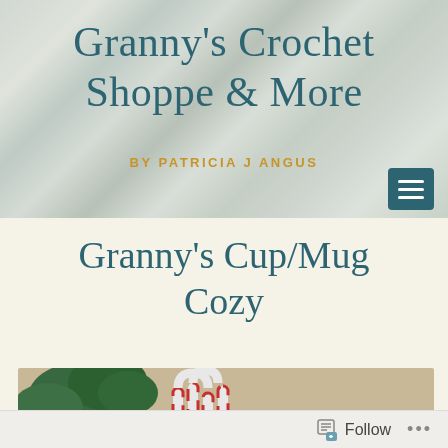Granny's Crochet Shoppe & More
BY PATRICIA J ANGUS
Granny's Cup/Mug Cozy
[Figure (photo): Photo of crocheted cup/mug cozies with candy canes and holiday decorations]
Follow ...